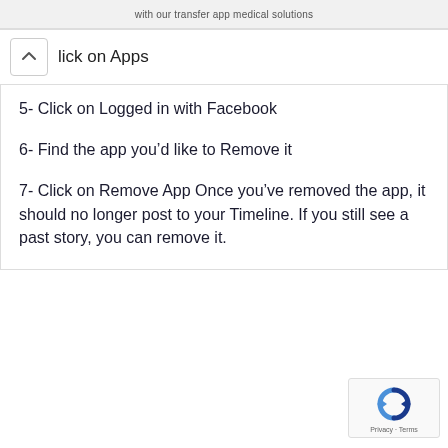with our transfer app medical solutions
lick on Apps
5- Click on Logged in with Facebook
6- Find the app you’d like to Remove it
7- Click on Remove App Once you’ve removed the app, it should no longer post to your Timeline. If you still see a past story, you can remove it.
[Figure (logo): reCAPTCHA logo with Privacy and Terms text]